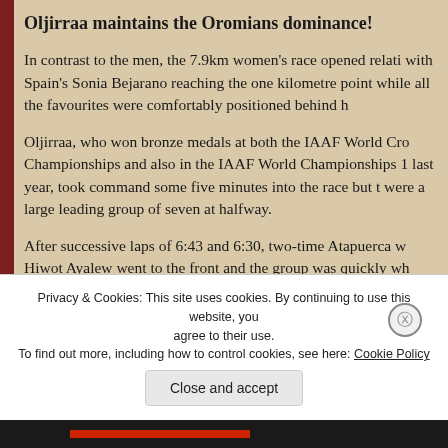Oljirraa maintains the Oromians dominance!
In contrast to the men, the 7.9km women's race opened relati with Spain's Sonia Bejarano reaching the one kilometre point while all the favourites were comfortably positioned behind h
Oljirraa, who won bronze medals at both the IAAF World Cro Championships and also in the IAAF World Championships 1 last year, took command some five minutes into the race but t were a large leading group of seven at halfway.
After successive laps of 6:43 and 6:30, two-time Atapuerca w Hiwot Ayalew went to the front and the group was quickly wh down to four with only Ayalew, Oljira, Kenya's 2013 World
Privacy & Cookies: This site uses cookies. By continuing to use this website, you agree to their use.
To find out more, including how to control cookies, see here: Cookie Policy
Close and accept